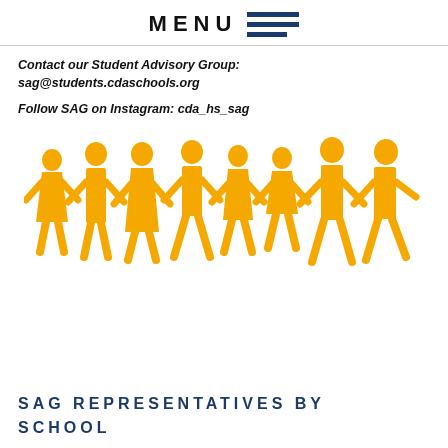MENU
Contact our Student Advisory Group:
sag@students.cdaschools.org

Follow SAG on Instagram: cda_hs_sag
[Figure (illustration): Row of golden/yellow paper-doll style human silhouettes holding hands, depicting a diverse group of people standing in a line.]
SAG REPRESENTATIVES BY SCHOOL